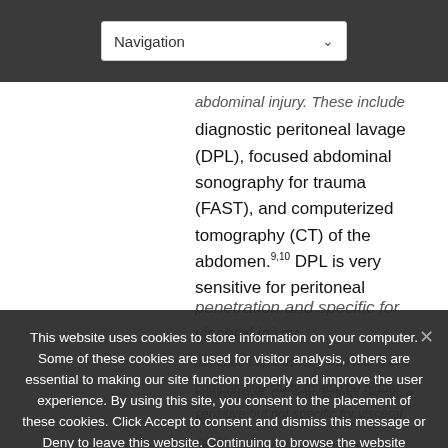Navigation
diagnostic peritoneal lavage (DPL), focused abdominal sonography for trauma (FAST), and computerized tomography (CT) of the abdomen.9,10 DPL is very sensitive for peritoneal penetration and specific for visceral injury
material. Laparoscopy was found in a comparative study to also be highly sensitive but not specific for visceral injury.
noninvasive. CT scan is less sensitive for peritoneal penetration and visceral injury but provides much more information
This website uses cookies to store information on your computer. Some of these cookies are used for visitor analysis, others are essential to making our site function properly and improve the user experience. By using this site, you consent to the placement of these cookies. Click Accept to consent and dismiss this message or Deny to leave this website. Continuing to browse the website without selecting one of these options will automatically cause acceptance of the use of cookies. Read our Privacy Policy for more.